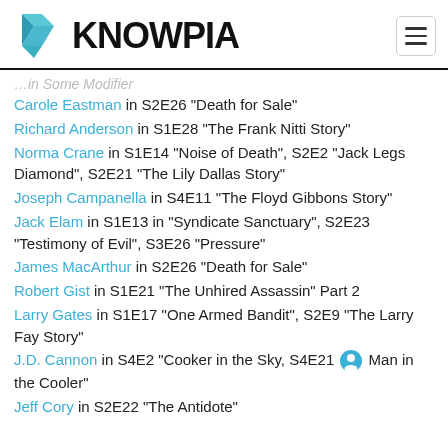KNOWPIA
…in Some Modifier
Carole Eastman in S2E26 "Death for Sale"
Richard Anderson in S1E28 "The Frank Nitti Story"
Norma Crane in S1E14 "Noise of Death", S2E2 "Jack Legs Diamond", S2E21 "The Lily Dallas Story"
Joseph Campanella in S4E11 "The Floyd Gibbons Story"
Jack Elam in S1E13 in "Syndicate Sanctuary", S2E23 "Testimony of Evil", S3E26 "Pressure"
James MacArthur in S2E26 "Death for Sale"
Robert Gist in S1E21 "The Unhired Assassin" Part 2
Larry Gates in S1E17 "One Armed Bandit", S2E9 "The Larry Fay Story"
J.D. Cannon in S4E2 "Cooker in the Sky, S4E21 Man in the Cooler"
Jeff Cory in S2E22 "The Antidote"